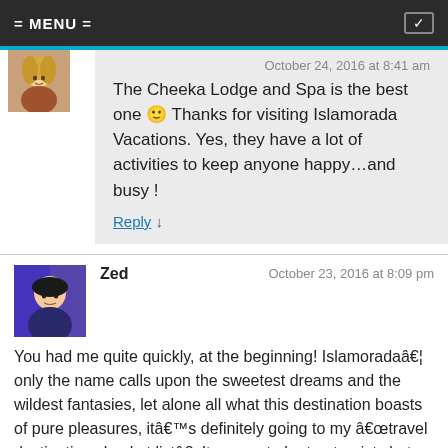= MENU =
October 24, 2016 at 8:41 am
The Cheeka Lodge and Spa is the best one 🙂 Thanks for visiting Islamorada Vacations. Yes, they have a lot of activities to keep anyone happy…and busy !
Reply ↓
Zed — October 23, 2016 at 8:09 pm
You had me quite quickly, at the beginning! Islamoradaâ€¦ only the name calls upon the sweetest dreams and the wildest fantasies, let alone all what this destination boasts of pure pleasures, itâ€™s definitely going to my â€œtravel destinations bucket listâ€. It seems to be too touristy but with all the crazy fun stuff to see and do, itâ€™s going to be one heck of a trip!
Reply ↓